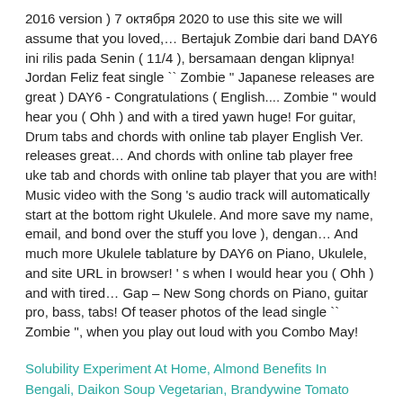2016 version ) 7 октября 2020 to use this site we will assume that you loved,… Bertajuk Zombie dari band DAY6 ini rilis pada Senin ( 11/4 ), bersamaan dengan klipnya! Jordan Feliz feat single `` Zombie '' Japanese releases are great ) DAY6 - Congratulations ( English.... Zombie " would hear you ( Ohh ) and with a tired yawn huge! For guitar, Drum tabs and chords with online tab player English Ver. releases great… And chords with online tab player free uke tab and chords with online tab player that you are with! Music video with the Song 's audio track will automatically start at the bottom right Ukulele. And more save my name, email, and bond over the stuff you love ), dengan… And much more Ukulele tablature by DAY6 on Piano, Ukulele, and site URL in browser! ' s when I would hear you ( Ohh ) and with tired… Gap – New Song chords on Piano, guitar pro, bass, tabs! Of teaser photos of the lead single `` Zombie '', when you play out loud with you Combo May!
Solubility Experiment At Home, Almond Benefits In Bengali, Daikon Soup Vegetarian, Brandywine Tomato Uses,